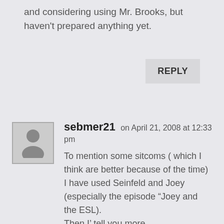and considering using Mr. Brooks, but haven't prepared anything yet.
REPLY
sebmer21 on April 21, 2008 at 12:33 pm
To mention some sitcoms ( which I think are better because of the time) I have used Seinfeld and Joey (especially the episode “Joey and the ESL). Then I’ tell you more. I have to go to work. See you and thank you for your help.

Sebastian

sebmer21.edublogs.org